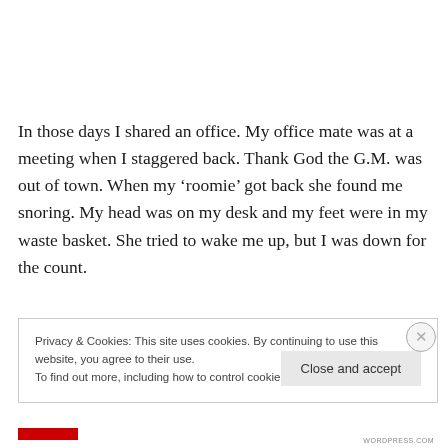In those days I shared an office.  My office mate was at a meeting when I staggered back.  Thank God the G.M. was out of town.  When my ‘roomie’ got back she found me snoring.  My head was on my desk and my feet were in my waste basket.  She tried to wake me up, but I was down for the count.
Privacy & Cookies: This site uses cookies. By continuing to use this website, you agree to their use.
To find out more, including how to control cookies, see here: Cookie Policy